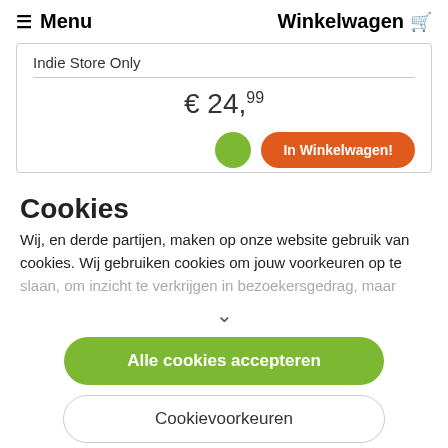Menu  Winkelwagen
Indie Store Only
€ 24,99
In Winkelwagen!
Cookies
Wij, en derde partijen, maken op onze website gebruik van cookies. Wij gebruiken cookies om jouw voorkeuren op te slaan, om inzicht te verkrijgen in bezoekersgedrag, maar
Alle cookies accepteren
Cookievoorkeuren